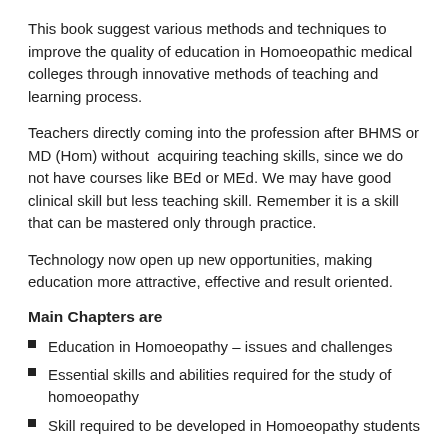This book suggest various methods and techniques to improve the quality of education in Homoeopathic medical colleges through innovative methods of teaching and learning process.
Teachers directly coming into the profession after BHMS or MD (Hom) without acquiring teaching skills, since we do not have courses like BEd or MEd. We may have good clinical skill but less teaching skill. Remember it is a skill that can be mastered only through practice.
Technology now open up new opportunities, making education more attractive, effective and result oriented.
Main Chapters are
Education in Homoeopathy – issues and challenges
Essential skills and abilities required for the study of homoeopathy
Skill required to be developed in Homoeopathy students
Teaching in materialism and dynamism